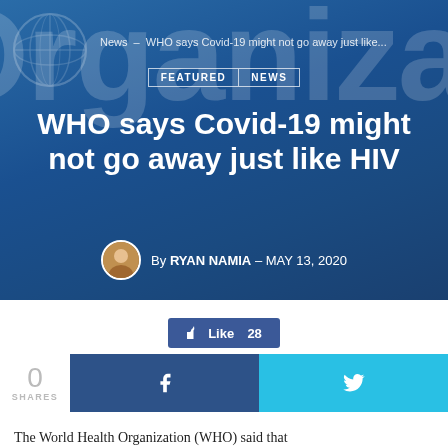[Figure (screenshot): WHO/UN organization blue banner background with large 'Organiza' text watermark and UN globe logo]
News – WHO says Covid-19 might not go away just like...
FEATURED | NEWS
WHO says Covid-19 might not go away just like HIV
By RYAN NAMIA – MAY 13, 2020
Like 28
0 SHARES
The World Health Organization (WHO) said that...